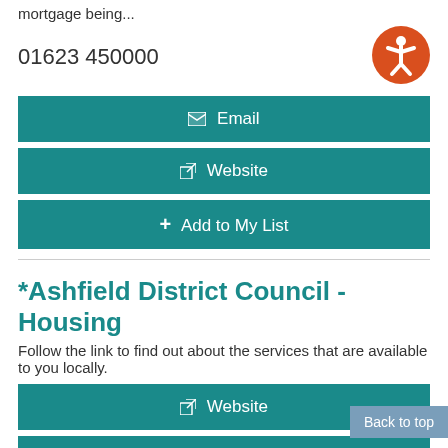mortgage being...
01623 450000
[Figure (illustration): Orange circular accessibility icon with a white human figure (arms and legs spread)]
✉ Email
↗ Website
+ Add to My List
*Ashfield District Council - Housing
Follow the link to find out about the services that are available to you locally.
↗ Website
+ Add to My List
*Ashfield District Council - Hou...
Back to top